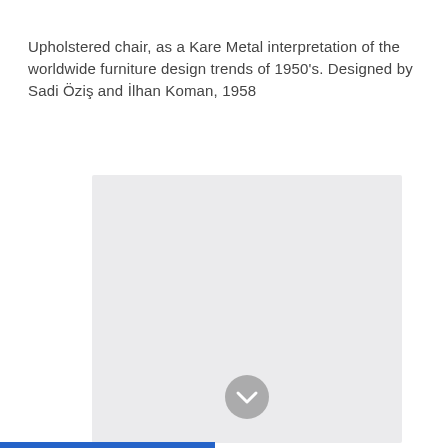Upholstered chair, as a Kare Metal interpretation of the worldwide furniture design trends of 1950's. Designed by Sadi Öziş and İlhan Koman, 1958
[Figure (photo): A large light gray placeholder rectangle representing a photo of an upholstered chair. A circular gray chevron/down-arrow button appears at the bottom center of the image area.]